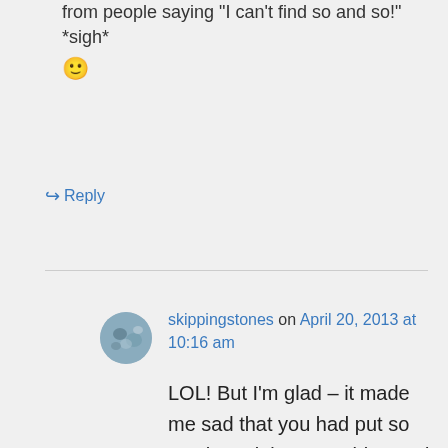from people saying "I can't find so and so!" *sigh* 🙂
↪ Reply
skippingstones on April 20, 2013 at 10:16 am
LOL! But I'm glad – it made me sad that you had put so much work into your blog and then it was all gone. And that just goes to show you how much people like what you do. There was something of yours I wanted